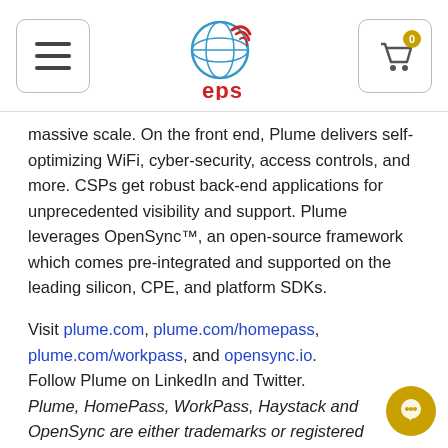EPS website header with menu, EPS logo, and cart (0 items)
massive scale. On the front end, Plume delivers self-optimizing WiFi, cyber-security, access controls, and more. CSPs get robust back-end applications for unprecedented visibility and support. Plume leverages OpenSync™, an open-source framework which comes pre-integrated and supported on the leading silicon, CPE, and platform SDKs.
Visit plume.com, plume.com/homepass, plume.com/workpass, and opensync.io. Follow Plume on LinkedIn and Twitter. Plume, HomePass, WorkPass, Haystack and OpenSync are either trademarks or registered trademarks of Plume Design, Inc.
# # #
EPS Global Media Contact